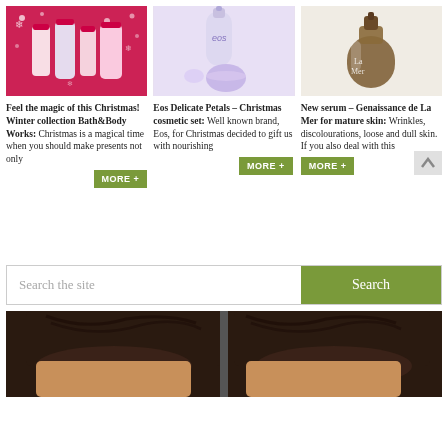[Figure (photo): Bath & Body Works winter/Christmas product collection on pink background with red bottles and snowflakes]
[Figure (photo): EOS lavender lotion bottle and lip balm on white/light purple background]
[Figure (photo): La Mer Genaissance serum bottle on light beige background]
Feel the magic of this Christmas! Winter collection Bath&Body Works: Christmas is a magical time when you should make presents not only
Eos Delicate Petals – Christmas cosmetic set: Well known brand, Eos, for Christmas decided to gift us with nourishing
New serum – Genaissance de La Mer for mature skin: Wrinkles, discolourations, loose and dull skin. If you also deal with this
Search the site
[Figure (photo): Close-up of person's hair from the back/top, split image showing before and after comparison]